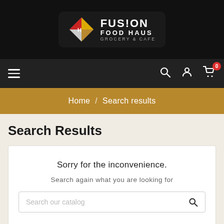[Figure (logo): Fusion Food Haus Grocery & Cafe logo with diamond-shaped icon and stylized text on black background]
Navigation bar with hamburger menu, search icon, account icon, and cart icon with badge showing 0
Home / Search results
Search Results
Sorry for the inconvenience.
Search again what you are looking for
Search our catalog